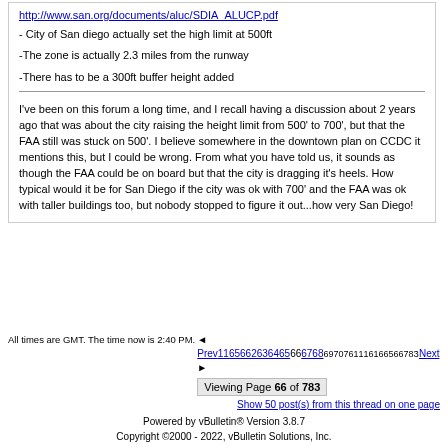http://www.san.org/documents/aluc/SDIA_ALUCP.pdf
- City of San diego actually set the high limit at 500ft
-The zone is actually 2.3 miles from the runway
-There has to be a 300ft buffer height added
I've been on this forum a long time, and I recall having a discussion about 2 years ago that was about the city raising the height limit from 500' to 700', but that the FAA still was stuck on 500'. I believe somewhere in the downtown plan on CCDC it mentions this, but I could be wrong. From what you have told us, it sounds as though the FAA could be on board but that the city is dragging it's heels. How typical would it be for San Diego if the city was ok with 700' and the FAA was ok with taller buildings too, but nobody stopped to figure it out...how very San Diego!
All times are GMT. The time now is 2:40 PM.
◄ Prev11656626364656667686970716111616656678 3Next ► Viewing Page 66 of 783 Show 50 post(s) from this thread on one page
Powered by vBulletin® Version 3.8.7
Copyright ©2000 - 2022, vBulletin Solutions, Inc.